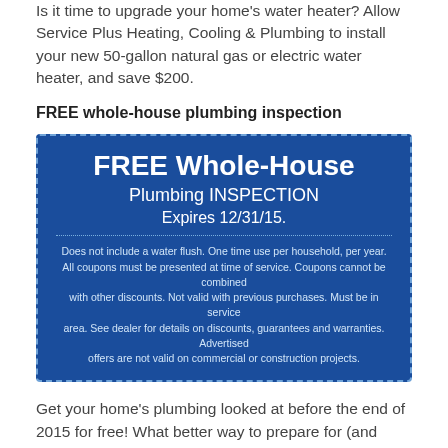Is it time to upgrade your home's water heater? Allow Service Plus Heating, Cooling & Plumbing to install your new 50-gallon natural gas or electric water heater, and save $200.
FREE whole-house plumbing inspection
[Figure (infographic): Blue coupon box with dashed border: 'FREE Whole-House Plumbing INSPECTION Expires 12/31/15.' with fine print about coupon terms and conditions.]
Get your home's plumbing looked at before the end of 2015 for free! What better way to prepare for (and prevent) frozen pipes this winter?
To make an appointment, give us a call at (317) 434-2627 right now. Don't forget to find Service Plus Heating, Cooling